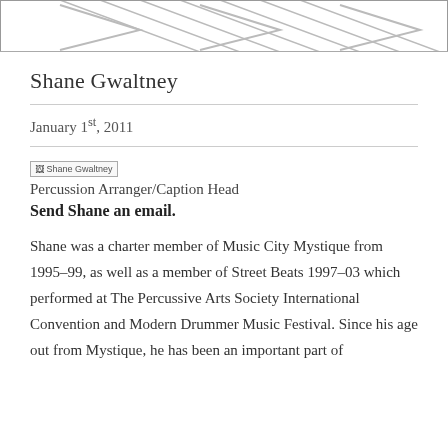[Figure (illustration): Partial top image strip showing diagonal lines/arrows pattern, cropped at top of page]
Shane Gwaltney
January 1st, 2011
[Figure (photo): Broken/missing image placeholder labeled 'Shane Gwaltney']
Percussion Arranger/Caption Head
Send Shane an email.
Shane was a charter member of Music City Mystique from 1995-99, as well as a member of Street Beats 1997-03 which performed at The Percussive Arts Society International Convention and Modern Drummer Music Festival. Since his age out from Mystique, he has been an important part of